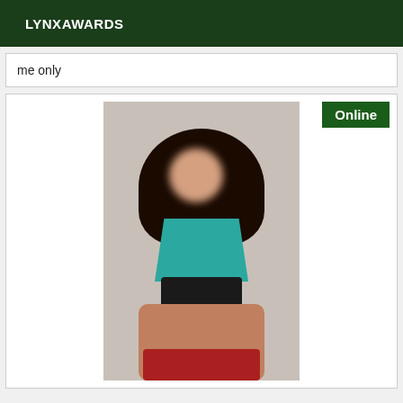LYNXAWARDS
me only
[Figure (photo): Photo of a woman with long curly dark hair wearing a teal bra top and dark underwear, kneeling on a red fabric on the floor, face blurred for anonymity. An 'Online' badge appears in the top right corner of the listing card.]